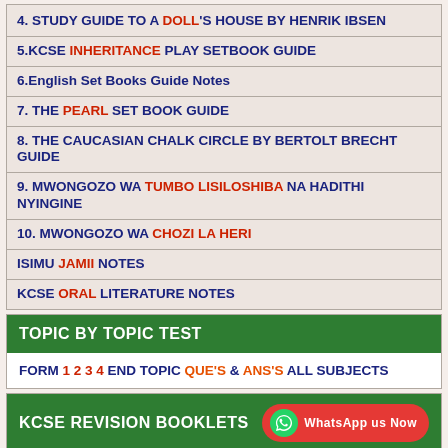4. STUDY GUIDE TO A DOLL'S HOUSE BY HENRIK IBSEN
5. KCSE INHERITANCE PLAY SETBOOK GUIDE
6. English Set Books Guide Notes
7. THE PEARL SET BOOK GUIDE
8. THE CAUCASIAN CHALK CIRCLE BY BERTOLT BRECHT GUIDE
9. MWONGOZO WA TUMBO LISILOSHIBA NA HADITHI NYINGINE
10. MWONGOZO WA CHOZI LA HERI
ISIMU JAMII NOTES
KCSE ORAL LITERATURE NOTES
TOPIC BY TOPIC TEST
FORM 1 2 3 4 END TOPIC QUE'S & ANS'S ALL SUBJECTS
KCSE REVISION BOOKLETS
FORM 1 2 3 4 ALL SUBJECTS REVISION